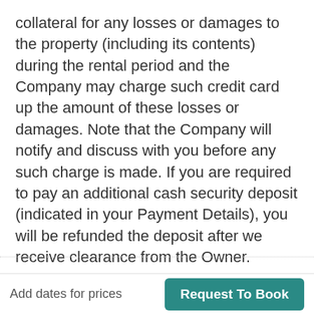collateral for any losses or damages to the property (including its contents) during the rental period and the Company may charge such credit card up the amount of these losses or damages. Note that the Company will notify and discuss with you before any such charge is made. If you are required to pay an additional cash security deposit (indicated in your Payment Details), you will be refunded the deposit after we receive clearance from the Owner.
0 Review
Add dates for prices | Request To Book